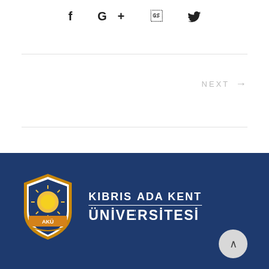[Figure (other): Social media icons: Facebook (f), Google+ (G+), Twitter (bird) displayed horizontally centered]
NEXT →
[Figure (logo): Kıbrıs Ada Kent Üniversitesi logo with shield emblem (AKÜ) and university name in white text on dark blue background]